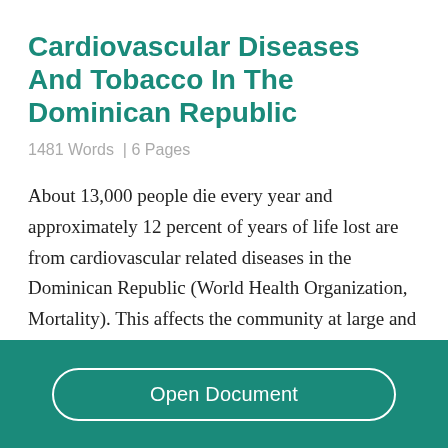Cardiovascular Diseases And Tobacco In The Dominican Republic
1481 Words  | 6 Pages
About 13,000 people die every year and approximately 12 percent of years of life lost are from cardiovascular related diseases in the Dominican Republic (World Health Organization, Mortality). This affects the community at large and stems from smoking, general ill health, lack of
Open Document